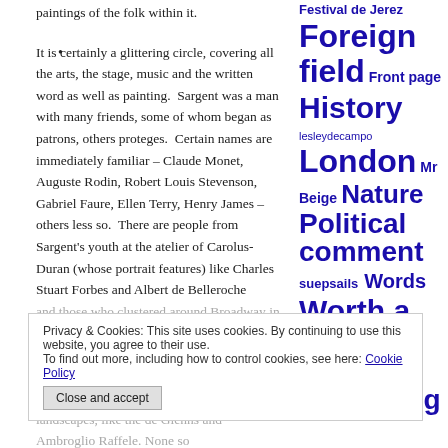paintings of the folk within it.
It is certainly a glittering circle, covering all the arts, the stage, music and the written word as well as painting. Sargent was a man with many friends, some of whom began as patrons, others proteges. Certain names are immediately familiar – Claude Monet, Auguste Rodin, Robert Louis Stevenson, Gabriel Faure, Ellen Terry, Henry James – others less so. There are people from Sargent's youth at the atelier of Carolus-Duran (whose portrait features) like Charles Stuart Forbes and Albert de Belleroche and those who clustered around Broadway in Worcestershire, such as the Helleus (above) and Millets. Then comes (perhaps) from Sargent's maturity, when he eschewed portraiture and toured Europe in search of landscapes, like the de Glenns and Ambroglio Raffele. None so
Festival de Jerez Foreign field Front page History lesleydecampo London Mr Beige Nature Political comment suepsails Words Worth a visit Writing & publishing
Privacy & Cookies: This site uses cookies. By continuing to use this website, you agree to their use.
To find out more, including how to control cookies, see here: Cookie Policy
Close and accept